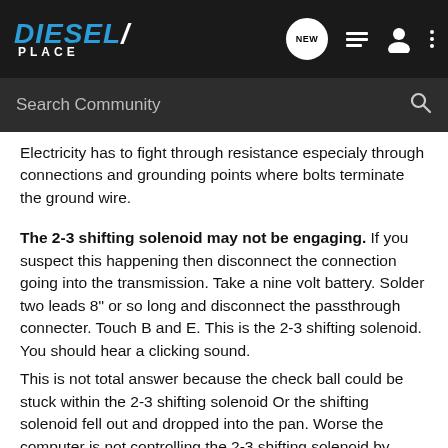DIESEL PLACE - NEW (nav icons)
Search Community
Electricity has to fight through resistance especialy through connections and grounding points where bolts terminate the ground wire.
The 2-3 shifting solenoid may not be engaging. If you suspect this happening then disconnect the connection going into the transmission. Take a nine volt battery. Solder two leads 8" or so long and disconnect the passthrough connecter. Touch B and E. This is the 2-3 shifting solenoid. You should hear a clicking sound.
This is not total answer because the check ball could be stuck within the 2-3 shifting solenoid Or the shifting solenoid fell out and dropped into the pan. Worse the computer is not controlling the 2-3 shifting solenoid by closing the circuit.